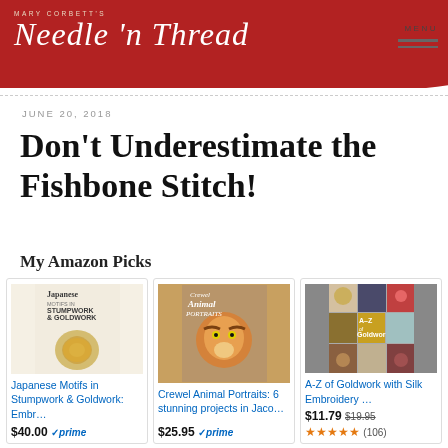Mary Corbett's Needle 'n Thread — MENU
JUNE 20, 2018
Don't Underestimate the Fishbone Stitch!
My Amazon Picks
[Figure (photo): Book cover: Japanese Motifs in Stumpwork & Goldwork]
Japanese Motifs in Stumpwork & Goldwork: Embr…
$40.00 ✓prime
[Figure (photo): Book cover: Crewel Animal Portraits]
Crewel Animal Portraits: 6 stunning projects in Jaco…
$25.95 ✓prime
[Figure (photo): Book cover: A-Z of Goldwork with Silk Embroidery]
A-Z of Goldwork with Silk Embroidery …
$11.79  $19.95  ★★★★★ (106)